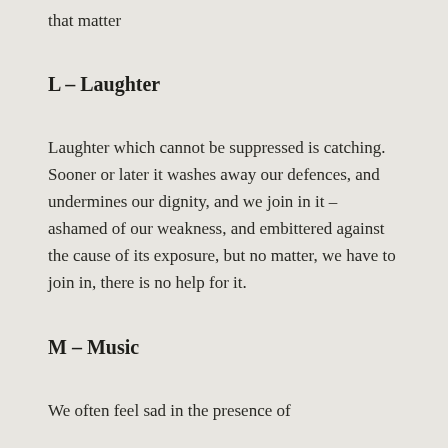that matter
L – Laughter
Laughter which cannot be suppressed is catching. Sooner or later it washes away our defences, and undermines our dignity, and we join in it – ashamed of our weakness, and embittered against the cause of its exposure, but no matter, we have to join in, there is no help for it.
M – Music
We often feel sad in the presence of